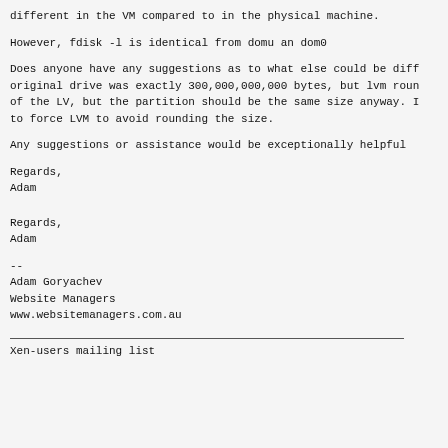different in the VM compared to in the physical machine.
However, fdisk -l is identical from domu an dom0
Does anyone have any suggestions as to what else could be diff original drive was exactly 300,000,000,000 bytes, but lvm roun of the LV, but the partition should be the same size anyway. I to force LVM to avoid rounding the size.
Any suggestions or assistance would be exceptionally helpful
Regards,
Adam
Regards,
Adam
--
Adam Goryachev
Website Managers
www.websitemanagers.com.au
Xen-users mailing list